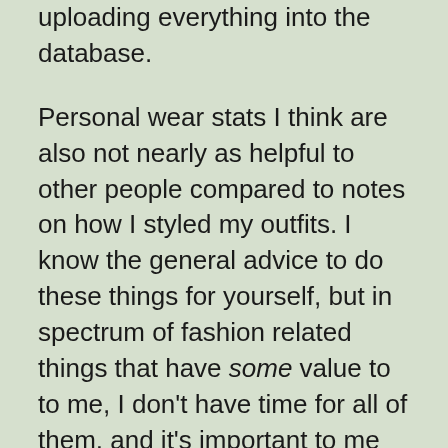uploading everything into the database.
Personal wear stats I think are also not nearly as helpful to other people compared to notes on how I styled my outfits. I know the general advice to do these things for yourself, but in spectrum of fashion related things that have some value to to me, I don’t have time for all of them, and it’s important to me that I spend some of my life doing things that are useful for other people so I take that into account. Daily tracking is frankly complete overkill for most people, but anyone can take an extra minute in the morning some day and think “huh, you know maybe I could try swapping out shoes here, I saw that on Instagram with shoe X and I liked that.” And it’s not even easier to do styling! It’s more of an art, and I